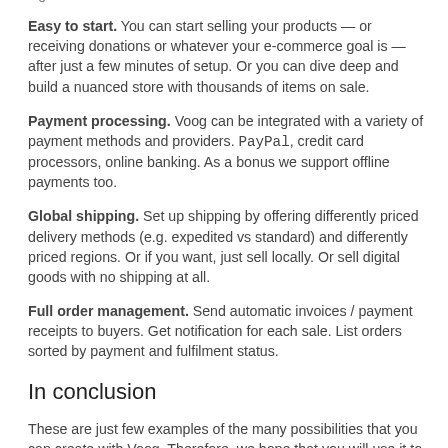significant characteristics.
Easy to start. You can start selling your products — or receiving donations or whatever your e-commerce goal is — after just a few minutes of setup. Or you can dive deep and build a nuanced store with thousands of items on sale.
Payment processing. Voog can be integrated with a variety of payment methods and providers. PayPal, credit card processors, online banking. As a bonus we support offline payments too.
Global shipping. Set up shipping by offering differently priced delivery methods (e.g. expedited vs standard) and differently priced regions. Or if you want, just sell locally. Or sell digital goods with no shipping at all.
Full order management. Send automatic invoices / payment receipts to buyers. Get notification for each sale. List orders sorted by payment and fulfilment status.
In conclusion
These are just few examples of the many possibilities that you can create with Voog. Therefore, we hope that you will use it to its full capability and enjoy the experience while at start it...